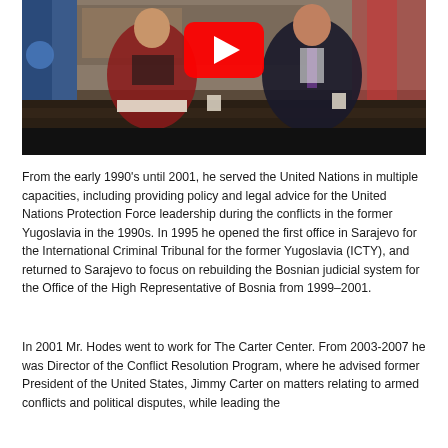[Figure (photo): Two people seated at a dark conference table. A woman in a red jacket on the left with papers, and a man in a dark suit on the right gesturing. A YouTube play button overlay is visible in the center. Flags are visible in the background. The bottom portion of the image is a black letterbox bar.]
From the early 1990's until 2001, he served the United Nations in multiple capacities, including providing policy and legal advice for the United Nations Protection Force leadership during the conflicts in the former Yugoslavia in the 1990s. In 1995 he opened the first office in Sarajevo for the International Criminal Tribunal for the former Yugoslavia (ICTY), and returned to Sarajevo to focus on rebuilding the Bosnian judicial system for the Office of the High Representative of Bosnia from 1999–2001.
In 2001 Mr. Hodes went to work for The Carter Center. From 2003-2007 he was Director of the Conflict Resolution Program, where he advised former President of the United States, Jimmy Carter on matters relating to armed conflicts and political disputes, while leading the